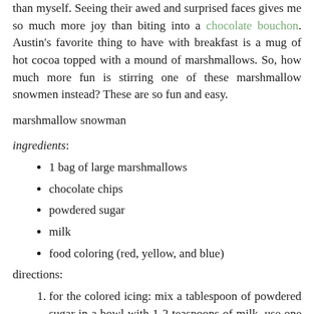than myself. Seeing their awed and surprised faces gives me so much more joy than biting into a chocolate bouchon. Austin's favorite thing to have with breakfast is a mug of hot cocoa topped with a mound of marshmallows. So, how much more fun is stirring one of these marshmallow snowmen instead? These are so fun and easy.
marshmallow snowman
ingredients:
1 bag of large marshmallows
chocolate chips
powdered sugar
milk
food coloring (red, yellow, and blue)
directions:
for the colored icing: mix a tablespoon of powdered sugar in a bowl with 1-2 teaspoons of milk. use one drop of red and one drop of yellow food coloring to make orange icing. repeat this step and use two drops of blue food coloring to make blue icing.